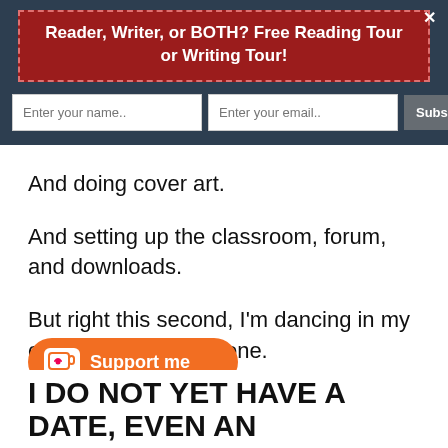[Figure (screenshot): Website popup banner with red box containing bold white text 'Reader, Writer, or BOTH? Free Reading Tour or Writing Tour!', email subscription form with name and email input fields and Subscribe Now button, all on dark navy background. An X close button appears top right.]
And doing cover art.
And setting up the classroom, forum, and downloads.
But right this second, I'm dancing in my chair. Done, done, done.
[Figure (other): Orange Ko-fi Support me button with coffee cup icon]
I DO NOT YET HAVE A DATE, EVEN AN